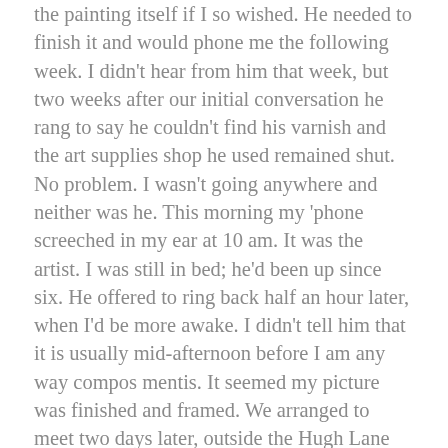the painting itself if I so wished. He needed to finish it and would phone me the following week. I didn't hear from him that week, but two weeks after our initial conversation he rang to say he couldn't find his varnish and the art supplies shop he used remained shut. No problem. I wasn't going anywhere and neither was he. This morning my 'phone screeched in my ear at 10 am. It was the artist. I was still in bed; he'd been up since six. He offered to ring back half an hour later, when I'd be more awake. I didn't tell him that it is usually mid-afternoon before I am any way compos mentis. It seemed my picture was finished and framed. We arranged to meet two days later, outside the Hugh Lane Gallery (closed), beside the Irish Writers Centre (closed). We can't sit in a café either. So we will sit on the steps of the Gallery or the Writers Centre. (In the rain, if the forecast is correct). I will take ownership of a lovely picture that is destined for my bedroom wall. He will take ownership of some euros.